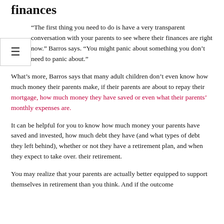finances
“The first thing you need to do is have a very transparent conversation with your parents to see where their finances are right now.” Barros says. “You might panic about something you don’t need to panic about.”
What’s more, Barros says that many adult children don’t even know how much money their parents make, if their parents are about to repay their mortgage, how much money they have saved or even what their parents’ monthly expenses are.
It can be helpful for you to know how much money your parents have saved and invested, how much debt they have (and what types of debt they left behind), whether or not they have a retirement plan, and when they expect to take over. their retirement.
You may realize that your parents are actually better equipped to support themselves in retirement than you think. And if the outcome